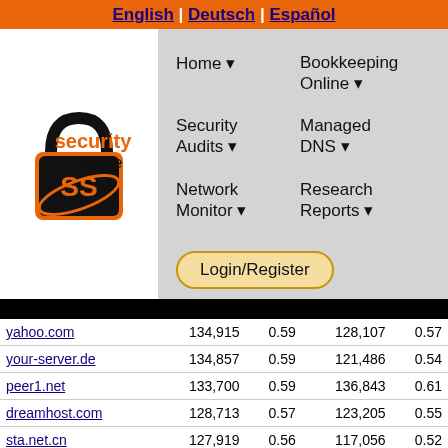English | Deutsch | Español
[Figure (logo): Security Space logo with padlock and stylized letters SS]
Home ▼
Bookkeeping Online ▼
Security Audits ▼
Managed DNS ▼
Network Monitor ▼
Research Reports ▼
Login/Register
| Domain | Count1 | Val1 | Count2 | Val2 |
| --- | --- | --- | --- | --- |
| yahoo.com | 134,915 | 0.59 | 128,107 | 0.57 |
| your-server.de | 134,857 | 0.59 | 121,486 | 0.54 |
| peer1.net | 133,700 | 0.59 | 136,843 | 0.61 |
| dreamhost.com | 128,713 | 0.57 | 123,205 | 0.55 |
| sta.net.cn | 127,919 | 0.56 | 117,056 | 0.52 |